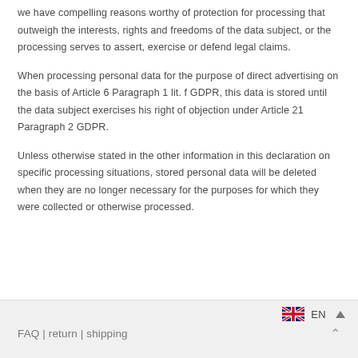we have compelling reasons worthy of protection for processing that outweigh the interests, rights and freedoms of the data subject, or the processing serves to assert, exercise or defend legal claims.
When processing personal data for the purpose of direct advertising on the basis of Article 6 Paragraph 1 lit. f GDPR, this data is stored until the data subject exercises his right of objection under Article 21 Paragraph 2 GDPR.
Unless otherwise stated in the other information in this declaration on specific processing situations, stored personal data will be deleted when they are no longer necessary for the purposes for which they were collected or otherwise processed.
FAQ | return | shipping   EN ▲